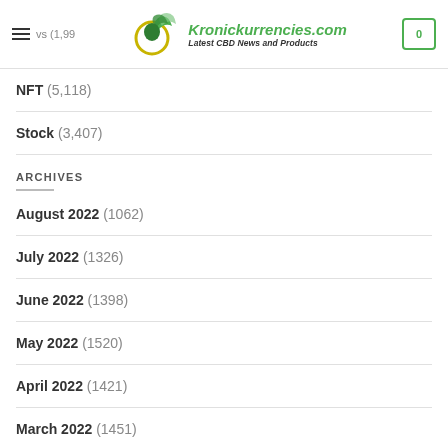Kronickurrencies.com - Latest CBD News and Products
NFT (5,118)
Stock (3,407)
ARCHIVES
August 2022 (1062)
July 2022 (1326)
June 2022 (1398)
May 2022 (1520)
April 2022 (1421)
March 2022 (1451)